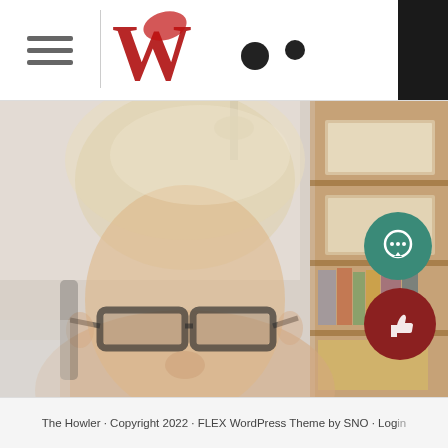The Howler — navigation header with logo
[Figure (photo): Close-up photo of a woman with blonde/gray hair and dark-framed glasses, sitting in an office or classroom. Behind her is a wooden bookshelf with books, framed certificates, and objects. The image is slightly washed out / faded.]
The Howler · Copyright 2022 · FLEX WordPress Theme by SNO · Login